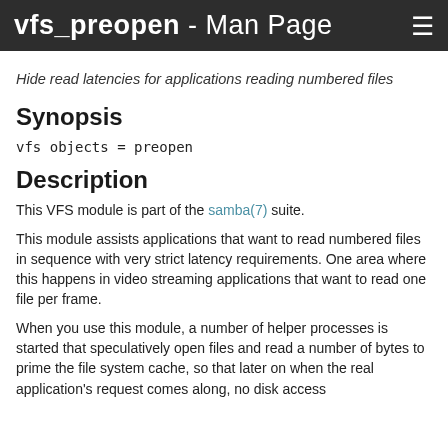vfs_preopen - Man Page
Hide read latencies for applications reading numbered files
Synopsis
Description
This VFS module is part of the samba(7) suite.
This module assists applications that want to read numbered files in sequence with very strict latency requirements. One area where this happens in video streaming applications that want to read one file per frame.
When you use this module, a number of helper processes is started that speculatively open files and read a number of bytes to prime the file system cache, so that later on when the real application's request comes along, no disk access